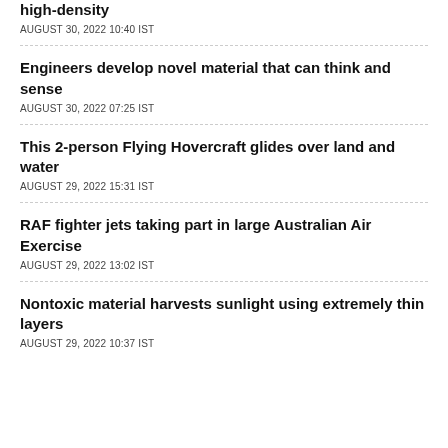high-density
AUGUST 30, 2022 10:40 IST
Engineers develop novel material that can think and sense
AUGUST 30, 2022 07:25 IST
This 2-person Flying Hovercraft glides over land and water
AUGUST 29, 2022 15:31 IST
RAF fighter jets taking part in large Australian Air Exercise
AUGUST 29, 2022 13:02 IST
Nontoxic material harvests sunlight using extremely thin layers
AUGUST 29, 2022 10:37 IST